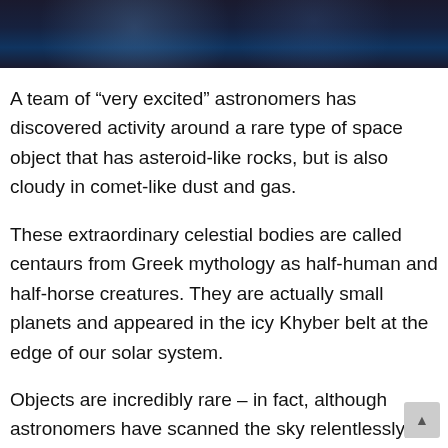[Figure (photo): Dark space/night sky image at the top of the page with blue tones, partial view cropped at top]
A team of “very excited” astronomers has discovered activity around a rare type of space object that has asteroid-like rocks, but is also cloudy in comet-like dust and gas.
These extraordinary celestial bodies are called centaurs from Greek mythology as half-human and half-horse creatures. They are actually small planets and appeared in the icy Khyber belt at the edge of our solar system.
Objects are incredibly rare – in fact, although astronomers have scanned the sky relentlessly, only 18 active centers have been found since 1927. They are dizzy, moving very far and in unusual ways and very difficult to observe. Because of this they are not properly understood.